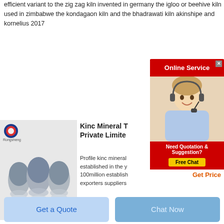efficient variant to the zig zag kiln invented in germany the igloo or beehive kiln used in zimbabwe the kondagaon kiln and the bhadrawati kiln akinshipe and kornelius 2017
[Figure (screenshot): Red Online Service advertisement banner with close button]
[Figure (photo): Three egg-shaped containers filled with gray powder on white background, with Rongsheng logo]
Kinc Mineral Technologies Private Limited
Profile kinc mineral established in the y 100million establish exporters suppliers calcination plant calcination plants mineral benification equipment plant machinery micronizing plant air classi gasifier plant incinerator
[Figure (photo): Customer service agent woman with headset smiling]
[Figure (screenshot): Need Quotation & Suggestion? Free Chat red advertisement box]
Get Price
[Figure (photo): Gray industrial object/kiln component on dark background]
China New Tech Tunnel Kiln For Pakistan
Get a Quote
Chat Now